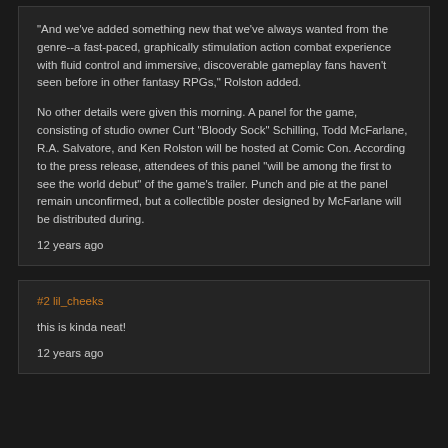"And we've added something new that we've always wanted from the genre--a fast-paced, graphically stimulation action combat experience with fluid control and immersive, discoverable gameplay fans haven't seen before in other fantasy RPGs," Rolston added.

No other details were given this morning. A panel for the game, consisting of studio owner Curt "Bloody Sock" Schilling, Todd McFarlane, R.A. Salvatore, and Ken Rolston will be hosted at Comic Con. According to the press release, attendees of this panel "will be among the first to see the world debut" of the game's trailer. Punch and pie at the panel remain unconfirmed, but a collectible poster designed by McFarlane will be distributed during.
12 years ago
#2 lil_cheeks

this is kinda neat!

12 years ago